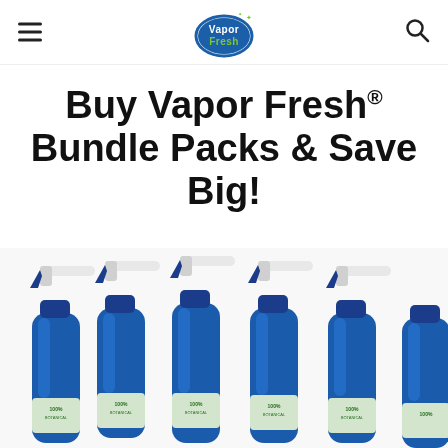Vapor Fresh (logo)
Buy Vapor Fresh® Bundle Packs & Save Big!
[Figure (photo): Multiple blue Vapor Fresh spray bottles arranged in a row, showing triggers and labels reading '100% Botanical']